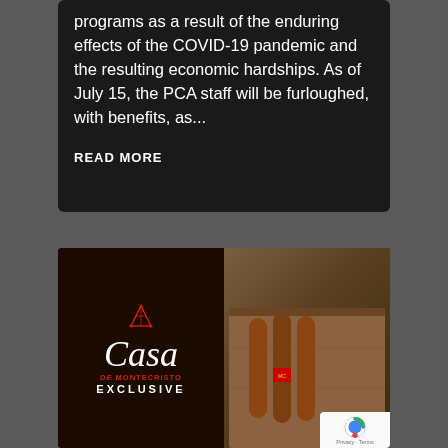programs as a result of the enduring effects of the COVID-19 pandemic and the resulting economic hardships. As of July 15, the PCA staff will be furloughed, with benefits, as...
READ MORE
[Figure (logo): Casa Montecristo Exclusive logo on dark background with red pyramid/triangle icon above script text]
[Figure (photo): Photo of cigars in a wooden cedar box]